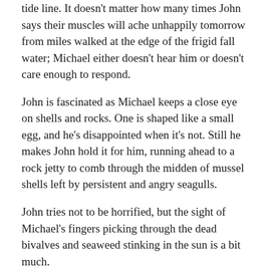tide line. It doesn't matter how many times John says their muscles will ache unhappily tomorrow from miles walked at the edge of the frigid fall water; Michael either doesn't hear him or doesn't care enough to respond.
John is fascinated as Michael keeps a close eye on shells and rocks. One is shaped like a small egg, and he's disappointed when it's not. Still he makes John hold it for him, running ahead to a rock jetty to comb through the midden of mussel shells left by persistent and angry seagulls.
John tries not to be horrified, but the sight of Michael's fingers picking through the dead bivalves and seaweed stinking in the sun is a bit much.
“What’s this?” Michael asks, eventually, holding out a shell, colored and swirled, to him.